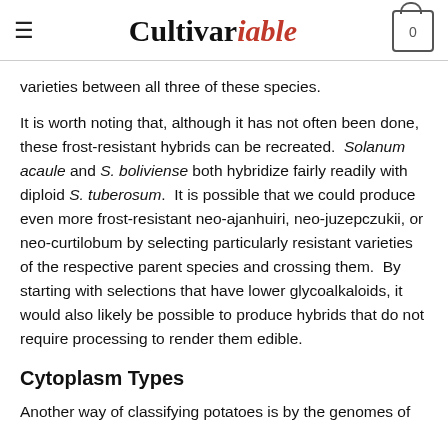Cultivariable
varieties between all three of these species.
It is worth noting that, although it has not often been done, these frost-resistant hybrids can be recreated. Solanum acaule and S. boliviense both hybridize fairly readily with diploid S. tuberosum. It is possible that we could produce even more frost-resistant neo-ajanhuiri, neo-juzepczukii, or neo-curtilobum by selecting particularly resistant varieties of the respective parent species and crossing them. By starting with selections that have lower glycoalkaloids, it would also likely be possible to produce hybrids that do not require processing to render them edible.
Cytoplasm Types
Another way of classifying potatoes is by the genomes of